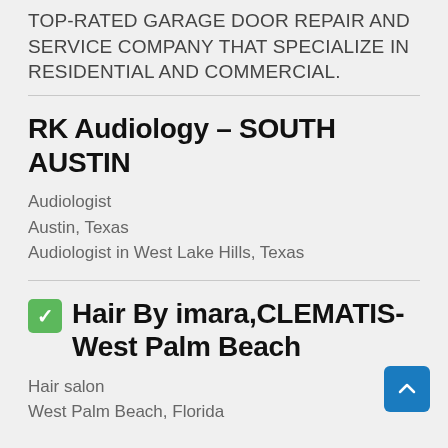TOP-RATED GARAGE DOOR REPAIR AND SERVICE COMPANY THAT SPECIALIZE IN RESIDENTIAL AND COMMERCIAL.
RK Audiology – SOUTH AUSTIN
Audiologist
Austin, Texas
Audiologist in West Lake Hills, Texas
✅ Hair By imara,CLEMATIS-West Palm Beach
Hair salon
West Palm Beach, Florida